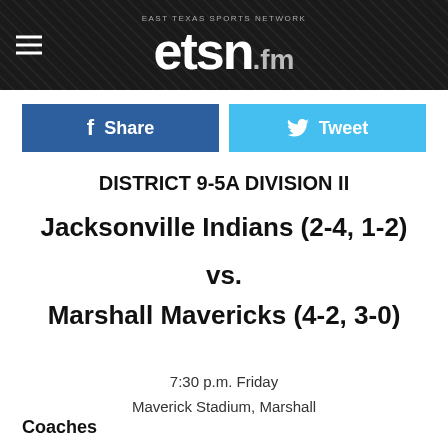etsn.fm
DISTRICT 9-5A DIVISION II
Jacksonville Indians (2-4, 1-2)
vs.
Marshall Mavericks (4-2, 3-0)
7:30 p.m. Friday
Maverick Stadium, Marshall
Coaches